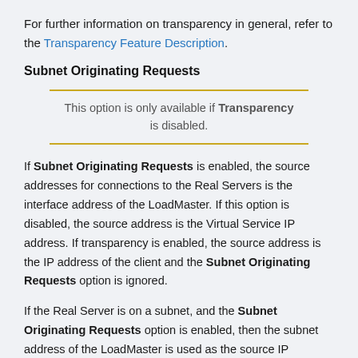For further information on transparency in general, refer to the Transparency Feature Description.
Subnet Originating Requests
This option is only available if Transparency is disabled.
If Subnet Originating Requests is enabled, the source addresses for connections to the Real Servers is the interface address of the LoadMaster. If this option is disabled, the source address is the Virtual Service IP address. If transparency is enabled, the source address is the IP address of the client and the Subnet Originating Requests option is ignored.
If the Real Server is on a subnet, and the Subnet Originating Requests option is enabled, then the subnet address of the LoadMaster is used as the source IP address.